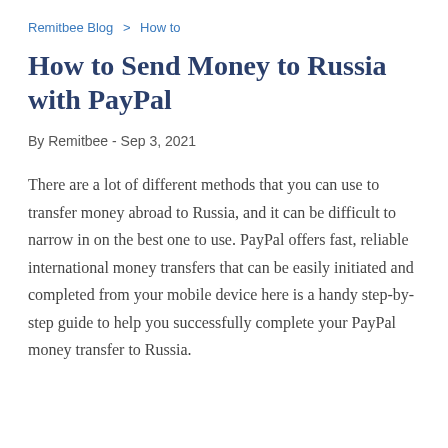Remitbee Blog > How to
How to Send Money to Russia with PayPal
By Remitbee - Sep 3, 2021
There are a lot of different methods that you can use to transfer money abroad to Russia, and it can be difficult to narrow in on the best one to use. PayPal offers fast, reliable international money transfers that can be easily initiated and completed from your mobile device here is a handy step-by-step guide to help you successfully complete your PayPal money transfer to Russia.